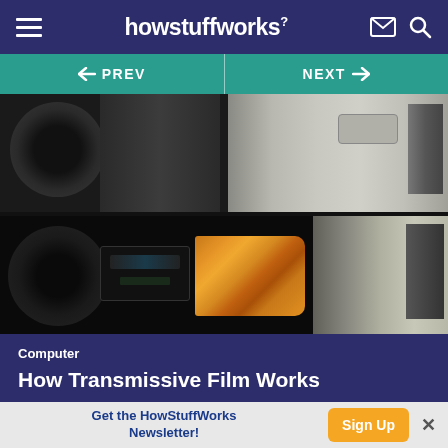howstuffworks
← PREV  |  NEXT →
[Figure (photo): Two photos of car dashboards stacked vertically. Top photo shows a light gray interior dashboard. Bottom photo shows a dark dashboard with wood grain trim accents in orange/brown tones.]
Computer
How Transmissive Film Works
Newsletter Sign Up
Get the HowStuffWorks Newsletter!  Sign Up